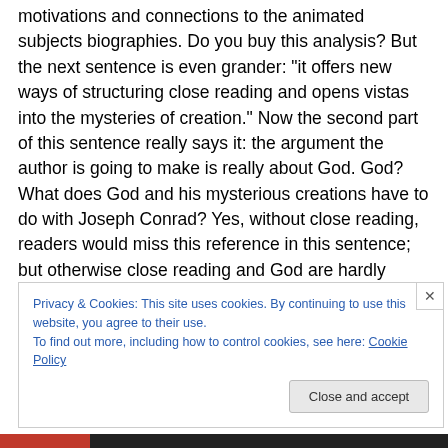motivations and connections to the animated subjects biographies. Do you buy this analysis? But the next sentence is even grander: “it offers new ways of structuring close reading and opens vistas into the mysteries of creation.” Now the second part of this sentence really says it: the argument the author is going to make is really about God. God? What does God and his mysterious creations have to do with Joseph Conrad? Yes, without close reading, readers would miss this reference in this sentence; but otherwise close reading and God are hardly connected.
Privacy & Cookies: This site uses cookies. By continuing to use this website, you agree to their use.
To find out more, including how to control cookies, see here: Cookie Policy